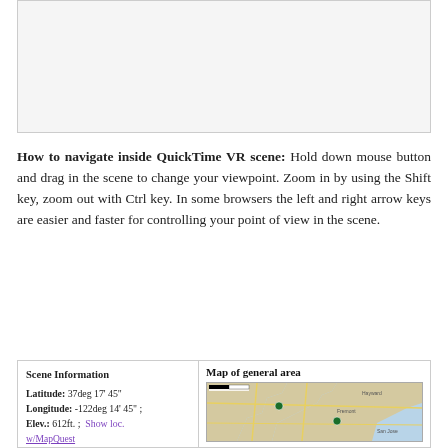[Figure (other): Blank/placeholder image box at top of page, light gray background with border]
How to navigate inside QuickTime VR scene: Hold down mouse button and drag in the scene to change your viewpoint. Zoom in by using the Shift key, zoom out with Ctrl key. In some browsers the left and right arrow keys are easier and faster for controlling your point of view in the scene.
| Scene Information | Map of general area |
| Latitude: 37deg 17' 45"; Longitude: -122deg 14' 45"; Elev.: 612ft. ; Show loc. w/MapQuest | [Map image] |